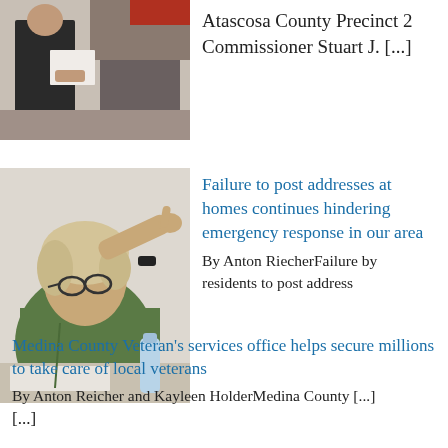[Figure (photo): Two people at what appears to be a meeting or presentation, one holding papers, viewed from the side]
Atascosa County Precinct 2 Commissioner Stuart J. [...]
[Figure (photo): A man with glasses pointing his finger upward, sitting at a table with papers and a water bottle]
Failure to post addresses at homes continues hindering emergency response in our area
By Anton RiecherFailure by residents to post address [...]
Medina County Veteran's services office helps secure millions to take care of local veterans
By Anton Reicher and Kayleen HolderMedina County [...]